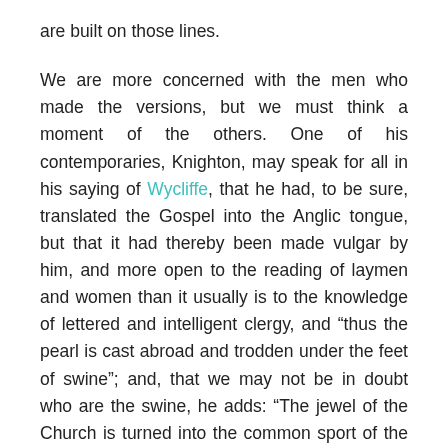are built on those lines.
We are more concerned with the men who made the versions, but we must think a moment of the others. One of his contemporaries, Knighton, may speak for all in his saying of Wycliffe, that he had, to be sure, translated the Gospel into the Anglic tongue, but that it had thereby been made vulgar by him, and more open to the reading of laymen and women than it usually is to the knowledge of lettered and intelligent clergy, and “thus the pearl is cast abroad and trodden under the feet of swine”; and, that we may not be in doubt who are the swine, he adds: “The jewel of the Church is turned into the common sport of the people.”
But two strong impulses drive thoughtful men to any effort that will secure wide knowledge of the Bible. One is the love of the Bible, and the half of